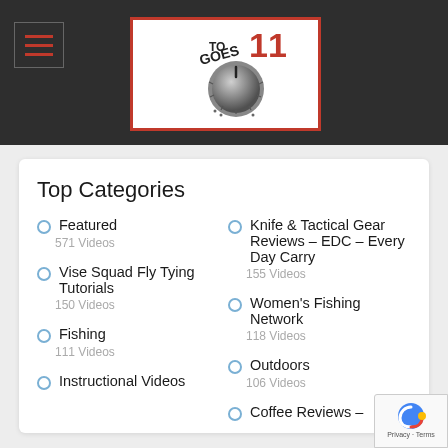[Figure (logo): Goes To 11 website logo — a volume knob with 'GOES TO 11' text and red number 11, on white background with red border]
Top Categories
Featured
571 Videos
Knife & Tactical Gear Reviews – EDC – Every Day Carry
155 Videos
Vise Squad Fly Tying Tutorials
150 Videos
Women's Fishing Network
118 Videos
Fishing
111 Videos
Outdoors
106 Videos
Instructional Videos
Coffee Reviews –